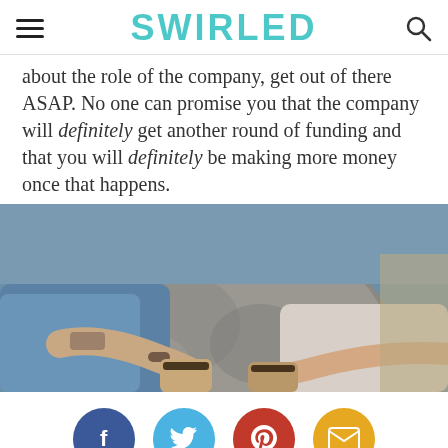SWIRLED
about the role of the company, get out of there ASAP. No one can promise you that the company will definitely get another round of funding and that you will definitely be making more money once that happens.
[Figure (photo): Overhead view of two people sitting at a round stone table, each holding a coffee cup, one person has a tattoo and is wearing a denim jacket]
[Figure (infographic): Social media sharing buttons: Facebook (blue circle), Twitter (light blue circle), Pinterest (red circle), Email (yellow/gold circle)]